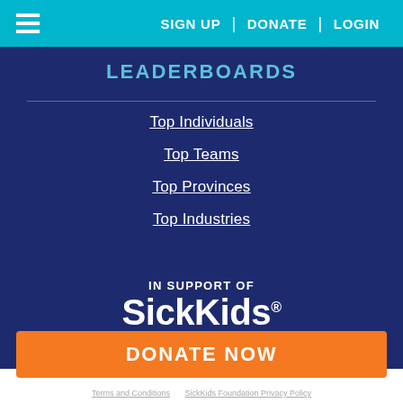≡ SIGN UP | DONATE | LOGIN
LEADERBOARDS
Top Individuals
Top Teams
Top Provinces
Top Industries
IN SUPPORT OF
SickKids®
FOUNDATION
DONATE NOW
Terms and Conditions   SickKids Foundation Privacy Policy